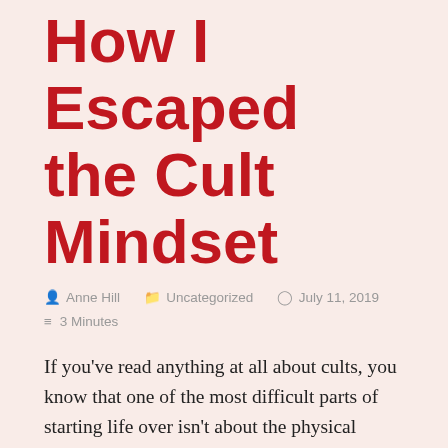How I Escaped the Cult Mindset
Anne Hill   Uncategorized   July 11, 2019   3 Minutes
If you’ve read anything at all about cults, you know that one of the most difficult parts of starting life over isn’t about the physical challenges—food, lodging, job, etc.—but about the mental challenges of getting out of that “cult mindset”